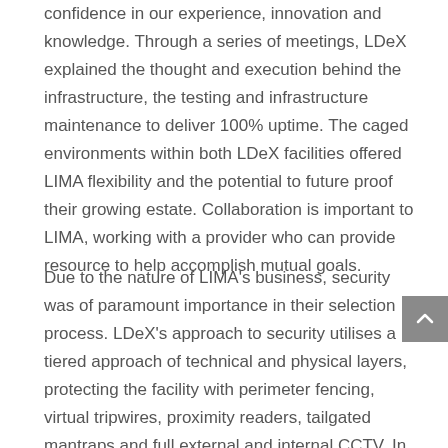confidence in our experience, innovation and knowledge. Through a series of meetings, LDeX explained the thought and execution behind the infrastructure, the testing and infrastructure maintenance to deliver 100% uptime. The caged environments within both LDeX facilities offered LIMA flexibility and the potential to future proof their growing estate. Collaboration is important to LIMA, working with a provider who can provide resource to help accomplish mutual goals.
Due to the nature of LIMA's business, security was of paramount importance in their selection process. LDeX's approach to security utilises a tiered approach of technical and physical layers, protecting the facility with perimeter fencing, virtual tripwires, proximity readers, tailgated mantraps and full external and internal CCTV. In addition to this, LDeX offers a positive and hassle-free